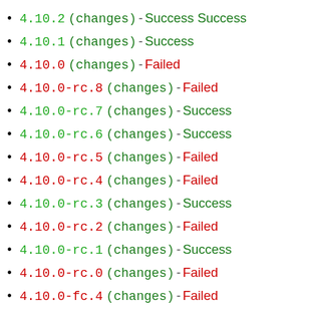4.10.2 (changes) - Success Success
4.10.1 (changes) - Success
4.10.0 (changes) - Failed
4.10.0-rc.8 (changes) - Failed
4.10.0-rc.7 (changes) - Success
4.10.0-rc.6 (changes) - Success
4.10.0-rc.5 (changes) - Failed
4.10.0-rc.4 (changes) - Failed
4.10.0-rc.3 (changes) - Success
4.10.0-rc.2 (changes) - Failed
4.10.0-rc.1 (changes) - Success
4.10.0-rc.0 (changes) - Failed
4.10.0-fc.4 (changes) - Failed
4.10.0-fc.3 (changes) - Success
4.10.0-fc.2 (changes) - Failed
4.10.0-fc.1 (changes) - Failed
4.10.0-fc.0 (changes) - Failed
4.9.22 (changes) - Success Success